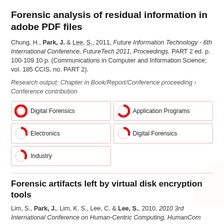Forensic analysis of residual information in adobe PDF files
Chung, H., Park, J. & Lee, S., 2011, Future Information Technology - 6th International Conference, FutureTech 2011, Proceedings. PART 2 ed. p. 100-109 10 p. (Communications in Computer and Information Science; vol. 185 CCIS, no. PART 2).
Research output: Chapter in Book/Report/Conference proceeding › Conference contribution
[Figure (infographic): Keyword badges: Digital Forensics (100%), Application Programs (~75%), Electronics (~55%), Digital Forensics (~55%), Industry (~40%)]
Forensic artifacts left by virtual disk encryption tools
Lim, S., Park, J., Lim, K. S., Lee, C. & Lee, S., 2010, 2010 3rd International Conference on Human-Centric Computing, HumanCom 2010. 5563320. (2010 3rd International Conference on Human-Centric Computing, HumanCom 2010).